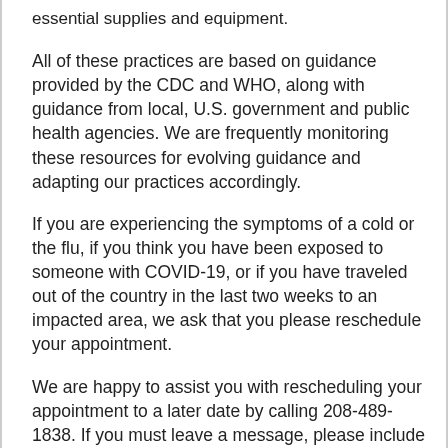essential supplies and equipment.
All of these practices are based on guidance provided by the CDC and WHO, along with guidance from local, U.S. government and public health agencies. We are frequently monitoring these resources for evolving guidance and adapting our practices accordingly.
If you are experiencing the symptoms of a cold or the flu, if you think you have been exposed to someone with COVID-19, or if you have traveled out of the country in the last two weeks to an impacted area, we ask that you please reschedule your appointment.
We are happy to assist you with rescheduling your appointment to a later date by calling 208-489-1838. If you must leave a message, please include your full name, date of birth and best telephone contact.